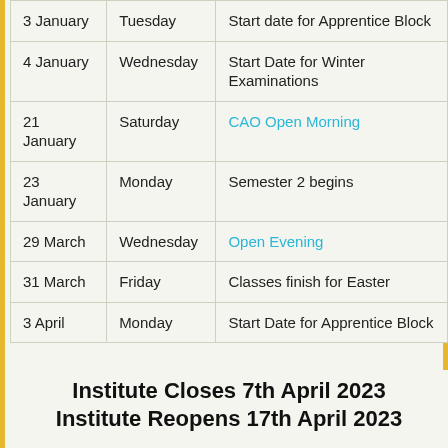| Date | Day | Event |
| --- | --- | --- |
| 3 January | Tuesday | Start date for Apprentice Block |
| 4 January | Wednesday | Start Date for Winter Examinations |
| 21 January | Saturday | CAO Open Morning |
| 23 January | Monday | Semester 2 begins |
| 29 March | Wednesday | Open Evening |
| 31 March | Friday | Classes finish for Easter |
| 3 April | Monday | Start Date for Apprentice Block |
Institute Closes 7th April 2023
Institute Reopens 17th April 2023